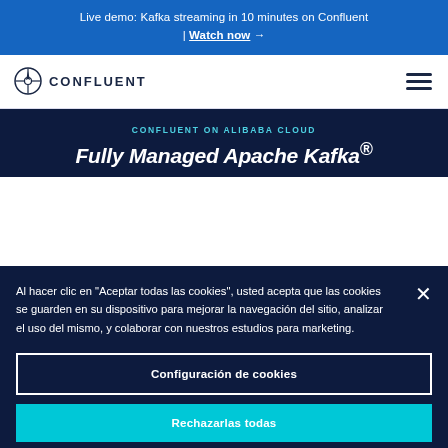Live demo: Kafka streaming in 10 minutes on Confluent | Watch now →
[Figure (logo): Confluent logo with compass icon and text CONFLUENT, plus hamburger menu icon]
CONFLUENT ON ALIBABA CLOUD
Fully Managed Apache Kafka®
Al hacer clic en "Aceptar todas las cookies", usted acepta que las cookies se guarden en su dispositivo para mejorar la navegación del sitio, analizar el uso del mismo, y colaborar con nuestros estudios para marketing.
Configuración de cookies
Rechazarlas todas